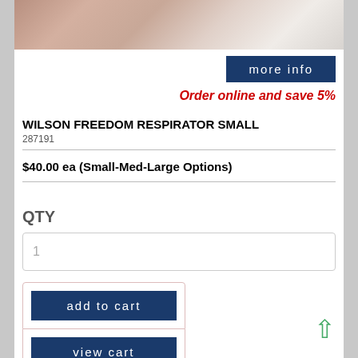[Figure (photo): Close-up photo of a person wearing a respirator/mask near their eye area]
more info
Order online and save 5%
WILSON FREEDOM RESPIRATOR SMALL
287191
$40.00 ea (Small-Med-Large Options)
QTY
1
add to cart
view cart